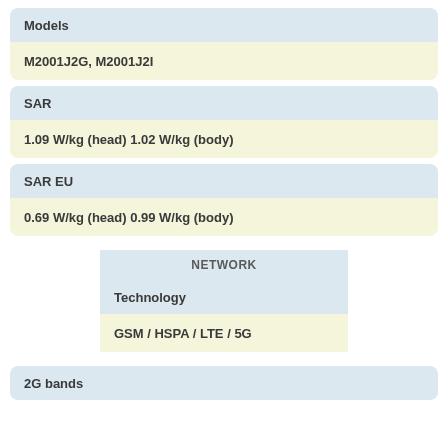| Models |  |
| --- | --- |
| M2001J2G, M2001J2I |  |
| SAR |  |
| --- | --- |
| 1.09 W/kg (head) 1.02 W/kg (body) |  |
| SAR EU |  |
| --- | --- |
| 0.69 W/kg (head) 0.99 W/kg (body) |  |
NETWORK
| Technology |  |
| --- | --- |
| GSM / HSPA / LTE / 5G |  |
| 2G bands |  |
| --- | --- |